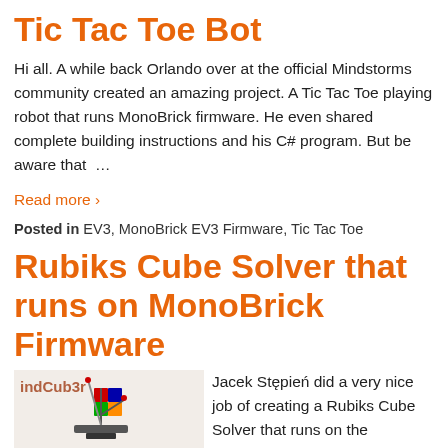Tic Tac Toe Bot
Hi all. A while back Orlando over at the official Mindstorms community created an amazing project. A Tic Tac Toe playing robot that runs MonoBrick firmware. He even shared complete building instructions and his C# program. But be aware that  …
Read more ›
Posted in EV3, MonoBrick EV3 Firmware, Tic Tac Toe
Rubiks Cube Solver that runs on MonoBrick Firmware
[Figure (photo): Image of a Rubiks Cube Solver robot with text 'indCub3r' and a robotic arm holding a Rubiks cube]
Jacek Stępień did a very nice job of creating a Rubiks Cube Solver that runs on the